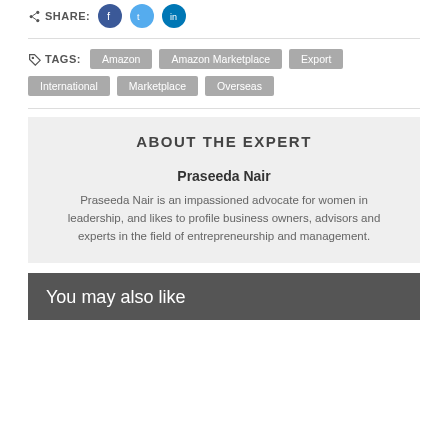SHARE: [Facebook] [Twitter] [LinkedIn]
TAGS: Amazon  Amazon Marketplace  Export  International  Marketplace  Overseas
ABOUT THE EXPERT
Praseeda Nair
Praseeda Nair is an impassioned advocate for women in leadership, and likes to profile business owners, advisors and experts in the field of entrepreneurship and management.
You may also like